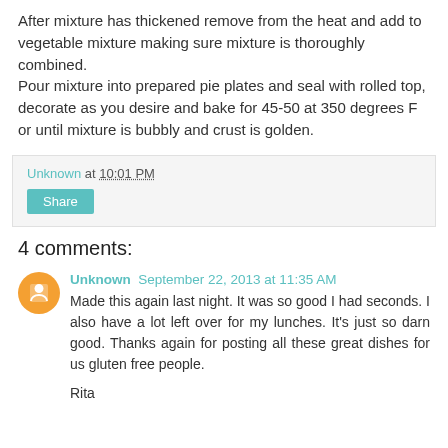After mixture has thickened remove from the heat and add to vegetable mixture making sure mixture is thoroughly combined.
Pour mixture into prepared pie plates and seal with rolled top, decorate as you desire and bake for 45-50 at 350 degrees F or until mixture is bubbly and crust is golden.
Unknown at 10:01 PM
Share
4 comments:
Unknown September 22, 2013 at 11:35 AM
Made this again last night. It was so good I had seconds. I also have a lot left over for my lunches. It's just so darn good. Thanks again for posting all these great dishes for us gluten free people.

Rita